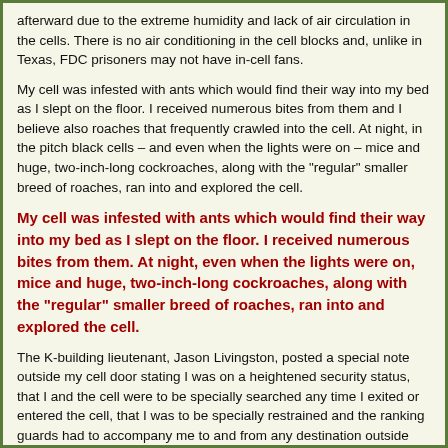afterward due to the extreme humidity and lack of air circulation in the cells. There is no air conditioning in the cell blocks and, unlike in Texas, FDC prisoners may not have in-cell fans.
My cell was infested with ants which would find their way into my bed as I slept on the floor. I received numerous bites from them and I believe also roaches that frequently crawled into the cell. At night, in the pitch black cells – and even when the lights were on – mice and huge, two-inch-long cockroaches, along with the "regular" smaller breed of roaches, ran into and explored the cell.
My cell was infested with ants which would find their way into my bed as I slept on the floor. I received numerous bites from them. At night, even when the lights were on, mice and huge, two-inch-long cockroaches, along with the "regular" smaller breed of roaches, ran into and explored the cell.
The K-building lieutenant, Jason Livingston, posted a special note outside my cell door stating I was on a heightened security status, that I and the cell were to be specially searched any time I exited or entered the cell, that I was to be specially restrained and the ranking guards had to accompany me to and from any destination outside the cell. The pretense was that I was an extreme physical threat.
I was denied my hypertension medications until I briefly fell unconscious on the evening of June 24, 2017.
Following sending word out to an attorney and others about my conditions and experiences, who apparently raised complaints on my behalf, I was moved to a "regular" cell, K-1-204, on June 30, 2017, with a bunk and a commode I can